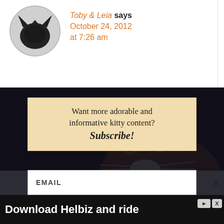Toby & Leia says October 24, 2012 at 7:26 am
[Figure (photo): Dark background with a cat (Somali/tabby breed) looking at camera with green eyes]
Want more adorable and informative kitty content? Subscribe!
EMAIL
Submit
X
Powered by Aweber
Oh dear   Morticia
X
Download Helbiz and ride